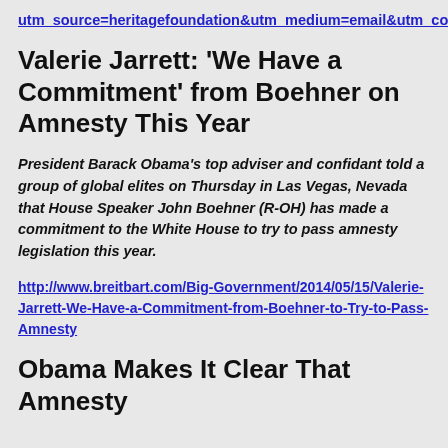utm_source=heritagefoundation&utm_medium=email&utm_content=DD140515&utm_campaign=dailydigest
Valerie Jarrett: 'We Have a Commitment' from Boehner on Amnesty This Year
President Barack Obama's top adviser and confidant told a group of global elites on Thursday in Las Vegas, Nevada that House Speaker John Boehner (R-OH) has made a commitment to the White House to try to pass amnesty legislation this year.
http://www.breitbart.com/Big-Government/2014/05/15/Valerie-Jarrett-We-Have-a-Commitment-from-Boehner-to-Try-to-Pass-Amnesty
Obama Makes It Clear That Amnesty